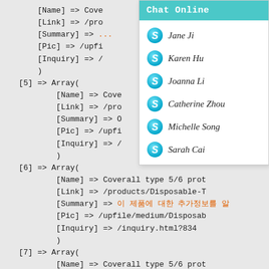[Name] => Cove
[Link] => /pro
[Summary] => ...
[Pic] => /upfi
[Inquiry] => /
)
[5] => Array(
    [Name] => Cove
    [Link] => /pro
    [Summary] => O
    [Pic] => /upfi
    [Inquiry] => /
)
[6] => Array(
    [Name] => Coverall type 5/6 prot
    [Link] => /products/Disposable-T
    [Summary] => ...
    [Pic] => /upfile/medium/Disposab
    [Inquiry] => /inquiry.html?834
)
[7] => Array(
    [Name] => Coverall type 5/6 prot
    [Link] => /products/Disposable-T
    [Summary] => ...
[Figure (other): Chat Online panel with teal header and list of 6 Skype contacts: Jane Ji, Karen Hu, Joanna Li, Catherine Zhou, Michelle Song, Sarah Cai]